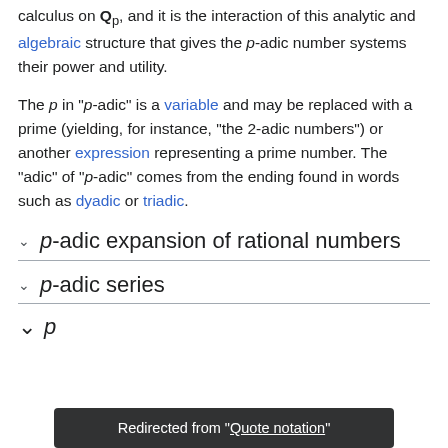calculus on Qp, and it is the interaction of this analytic and algebraic structure that gives the p-adic number systems their power and utility.
The p in "p-adic" is a variable and may be replaced with a prime (yielding, for instance, "the 2-adic numbers") or another expression representing a prime number. The "adic" of "p-adic" comes from the ending found in words such as dyadic or triadic.
p-adic expansion of rational numbers
p-adic series
p-adic...
Redirected from "Quote notation"